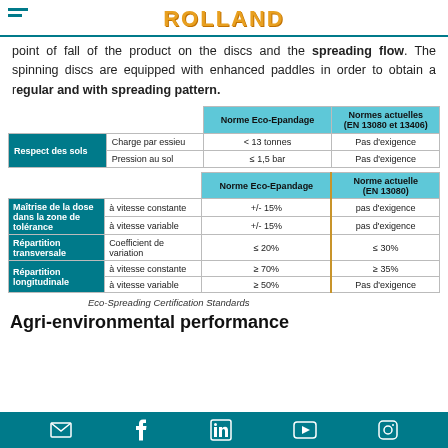ROLLAND
point of fall of the product on the discs and the spreading flow. The spinning discs are equipped with enhanced paddles in order to obtain a regular and with spreading pattern.
|  |  | Norme Eco-Epandage | Normes actuelles (EN 13080 et 13406) |
| --- | --- | --- | --- |
| Respect des sols | Charge par essieu | < 13 tonnes | Pas d'exigence |
| Respect des sols | Pression au sol | ≤ 1,5 bar | Pas d'exigence |
|  |  | Norme Eco-Epandage | Norme actuelle (EN 13080) |
| --- | --- | --- | --- |
| Maîtrise de la dose dans la zone de tolérance | à vitesse constante | +/- 15% | pas d'exigence |
| Maîtrise de la dose dans la zone de tolérance | à vitesse variable | +/- 15% | pas d'exigence |
| Répartition transversale | Coefficient de variation | ≤ 20% | ≤ 30% |
| Répartition longitudinale | à vitesse constante | ≥ 70% | ≥ 35% |
| Répartition longitudinale | à vitesse variable | ≥ 50% | Pas d'exigence |
Eco-Spreading Certification Standards
Agri-environmental performance
Email | Facebook | LinkedIn | YouTube | Instagram